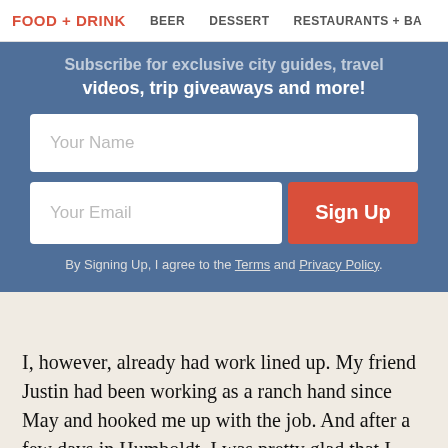FOOD + DRINK   BEER   DESSERT   RESTAURANTS + BA
Subscribe for exclusive city guides, travel videos, trip giveaways and more!
[Figure (screenshot): Newsletter sign-up form with Your Name field, Your Email field, and Sign Up button on a steel-blue background. Includes terms agreement text.]
By Signing Up, I agree to the Terms and Privacy Policy.
I, however, already had work lined up. My friend Justin had been working as a ranch hand since May and hooked me up with the job. And after a few days in Humboldt, I was pretty glad that I hadn't been reckless enough to show up without a contact.